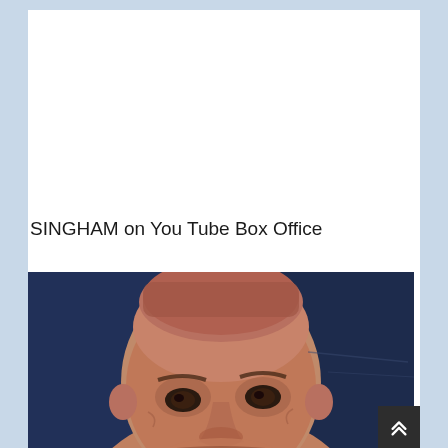SINGHAM on You Tube Box Office
[Figure (photo): Close-up photograph of a bald man's face against a dark blue background, partially cropped]